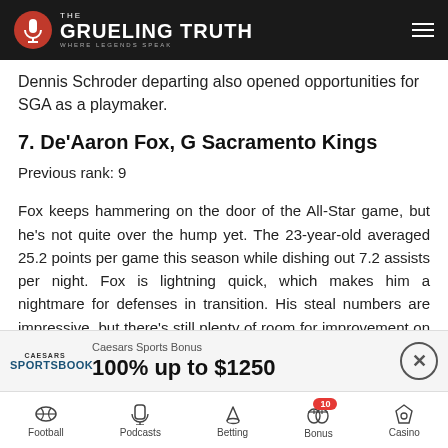The Grueling Truth — Where Legends Speak
Dennis Schroder departing also opened opportunities for SGA as a playmaker.
7. De'Aaron Fox, G Sacramento Kings
Previous rank: 9
Fox keeps hammering on the door of the All-Star game, but he's not quite over the hump yet. The 23-year-old averaged 25.2 points per game this season while dishing out 7.2 assists per night. Fox is lightning quick, which makes him a nightmare for defenses in transition. His steal numbers are impressive, but there's still plenty of room for improvement on defense.
[Figure (other): Caesars Sportsbook ad banner: Caesars Sports Bonus 100% up to $1250]
Football | Podcasts | Betting | Bonus (10) | Casino